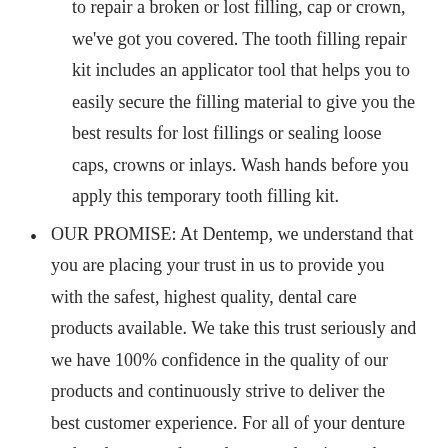to repair a broken or lost filling, cap or crown, we've got you covered. The tooth filling repair kit includes an applicator tool that helps you to easily secure the filling material to give you the best results for lost fillings or sealing loose caps, crowns or inlays. Wash hands before you apply this temporary tooth filling kit.
OUR PROMISE: At Dentemp, we understand that you are placing your trust in us to provide you with the safest, highest quality, dental care products available. We take this trust seriously and we have 100% confidence in the quality of our products and continuously strive to deliver the best customer experience. For all of your denture and oral care needs, explore our cleaning and maintenance products including Dentemp Renu-It Refile Pellets...